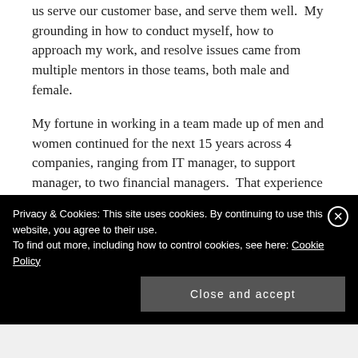us serve our customer base, and serve them well.  My grounding in how to conduct myself, how to approach my work, and resolve issues came from multiple mentors in those teams, both male and female.
My fortune in working in a team made up of men and women continued for the next 15 years across 4 companies, ranging from IT manager, to support manager, to two financial managers.  That experience dropped off when I became a contractor for a couple of years to working in all
Privacy & Cookies: This site uses cookies. By continuing to use this website, you agree to their use.
To find out more, including how to control cookies, see here: Cookie Policy
Close and accept